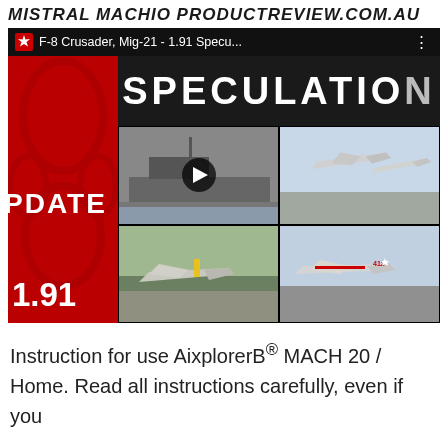MISTRAL MACHIO PRODUCTREVIEW.COM.AU
[Figure (screenshot): YouTube video thumbnail showing F-8 Crusader, Mig-21 - 1.91 Speculation Update video with Canadian Aviation channel logo, SPECULATION text banner, four aircraft/carrier images in a grid, and partial PDATE and 1.91 text overlay on red background]
Instruction for use AixplorerB® MACH 20 / Home. Read all instructions carefully, even if you